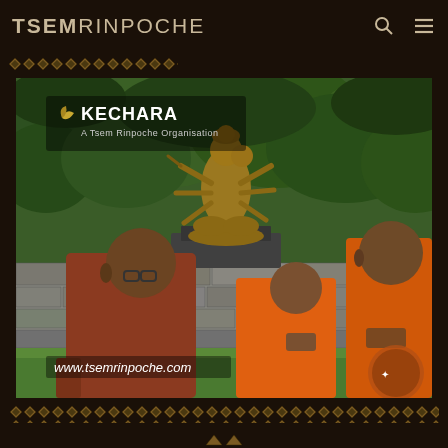TSEM RINPOCHE
[Figure (photo): Buddhist monks in orange robes praying near a multi-armed deity statue surrounded by greenery, with Kechara organization logo overlay and www.tsemrinpoche.com watermark]
decorative border pattern